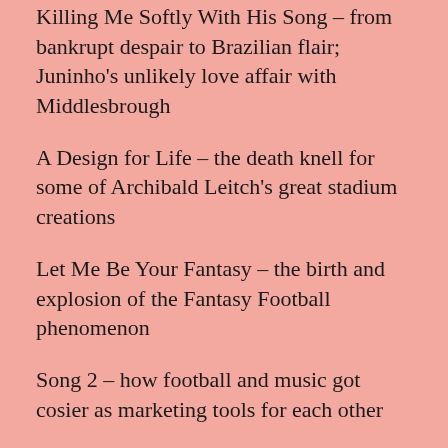Killing Me Softly With His Song – from bankrupt despair to Brazilian flair; Juninho's unlikely love affair with Middlesbrough
A Design for Life – the death knell for some of Archibald Leitch's great stadium creations
Let Me Be Your Fantasy – the birth and explosion of the Fantasy Football phenomenon
Song 2 – how football and music got cosier as marketing tools for each other
Taillights Fade – a look at the smaller clubs whose hopes for greatness were extinguished as the Premier League sailed without them.
Mr. Vain – the making of a Spice Boy
Bittersweet Symphony – Blackburn Rovers' rise and fall; an